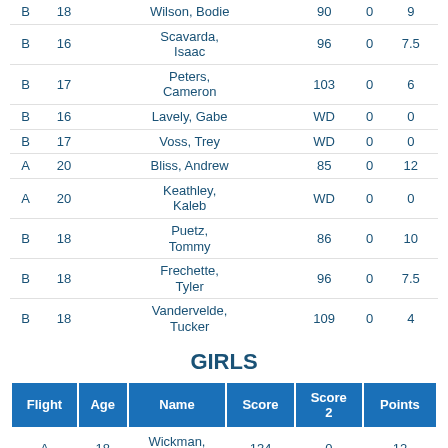| Flight | Age | Name | Score | Score 2 | Points |
| --- | --- | --- | --- | --- | --- |
| B | 18 | Wilson, Bodie | 90 | 0 | 9 |
| B | 16 | Scavarda, Isaac | 96 | 0 | 7.5 |
| B | 17 | Peters, Cameron | 103 | 0 | 6 |
| B | 16 | Lavely, Gabe | WD | 0 | 0 |
| B | 17 | Voss, Trey | WD | 0 | 0 |
| A | 20 | Bliss, Andrew | 85 | 0 | 12 |
| A | 20 | Keathley, Kaleb | WD | 0 | 0 |
| B | 18 | Puetz, Tommy | 86 | 0 | 10 |
| B | 18 | Frechette, Tyler | 96 | 0 | 7.5 |
| B | 18 | Vandervelde, Tucker | 109 | 0 | 4 |
GIRLS
| Flight | Age | Name | Score | Score 2 | Points |
| --- | --- | --- | --- | --- | --- |
| A | 18 | Wickman, Lainey | 134 | 0 | 12 |